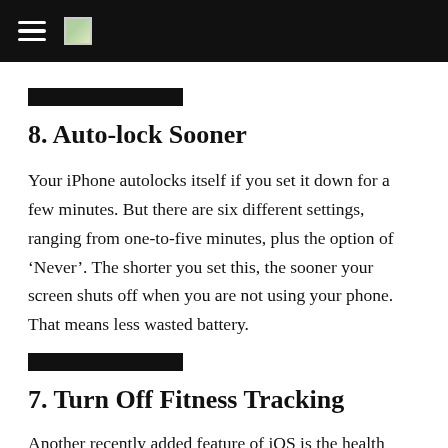8. Auto-lock Sooner
Your iPhone autolocks itself if you set it down for a few minutes. But there are six different settings, ranging from one-to-five minutes, plus the option of ‘Never’. The shorter you set this, the sooner your screen shuts off when you are not using your phone. That means less wasted battery.
7. Turn Off Fitness Tracking
Another recently added feature of iOS is the health